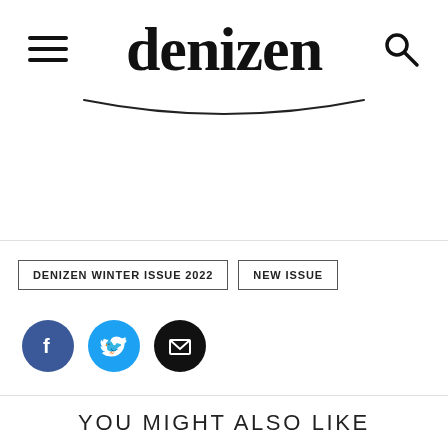denizen
[Figure (logo): Denizen magazine logo with hamburger menu icon on left and search icon on right, with a curved underline below the logo]
DENIZEN WINTER ISSUE 2022  NEW ISSUE
[Figure (illustration): Social media icons: Facebook (blue circle), Twitter (light blue circle), Email/envelope (black circle)]
YOU MIGHT ALSO LIKE